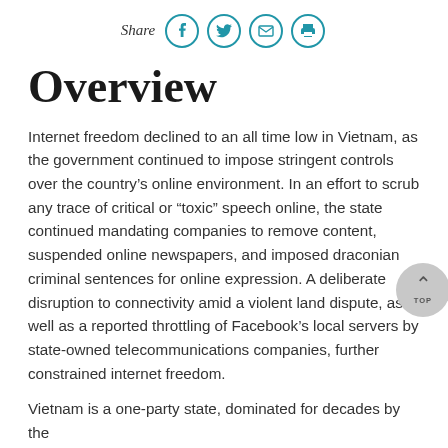Share [Facebook] [Twitter] [Email] [Print]
Overview
Internet freedom declined to an all time low in Vietnam, as the government continued to impose stringent controls over the country’s online environment. In an effort to scrub any trace of critical or “toxic” speech online, the state continued mandating companies to remove content, suspended online newspapers, and imposed draconian criminal sentences for online expression. A deliberate disruption to connectivity amid a violent land dispute, as well as a reported throttling of Facebook’s local servers by state-owned telecommunications companies, further constrained internet freedom.
Vietnam is a one-party state, dominated for decades by the